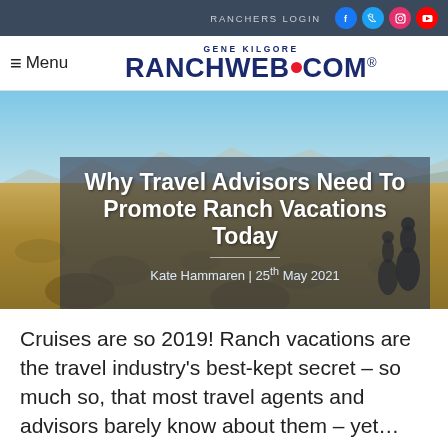RANCHERS LOGIN
[Figure (screenshot): Website header with Gene Kilgore RanchWeb.com logo and hamburger menu]
[Figure (photo): Landscape photo of open range with mountains and blue sky; riders on horseback visible at right edge; overlaid with article title block reading 'Why Travel Advisors Need To Promote Ranch Vacations Today' by Kate Hammaren, 25th May 2021]
Why Travel Advisors Need To Promote Ranch Vacations Today
Kate Hammaren | 25th May 2021
Cruises are so 2019! Ranch vacations are the travel industry's best-kept secret – so much so, that most travel agents and advisors barely know about them – yet...